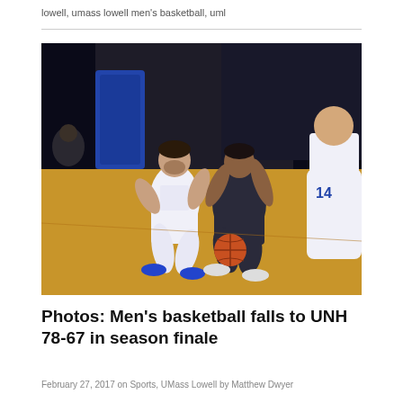lowell, umass lowell men's basketball, uml
[Figure (photo): Basketball game action photo showing UMass Lowell players in white uniforms competing against an opponent in dark uniform, reaching for a loose ball on the court]
Photos: Men's basketball falls to UNH 78-67 in season finale
February 27, 2017 on Sports, UMass Lowell by Matthew Dwyer